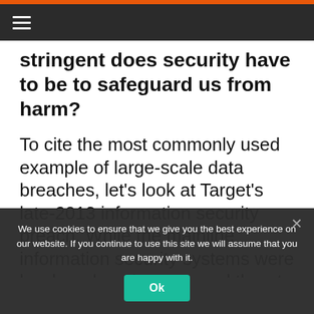≡
stringent does security have to be to safeguard us from harm?
To cite the most commonly used example of large-scale data breaches, let's look at Target's late-2013 information security breach. While the mainline information security systems were hardened against external threat, a well-crafted social hack delivered in
We use cookies to ensure that we give you the best experience on our website. If you continue to use this site we will assume that you are happy with it.